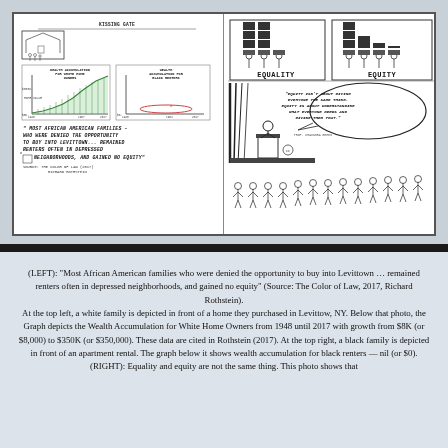[Figure (illustration): Sketchnote illustration with two panels. LEFT: Hand-drawn sketch showing a white family in front of a home in Levittown NY at top, two line graphs below (Wealth Accumulation for White Home Owners 1948-2017 showing growth from $8K to $350K, and Wealth Accumulation for Black Renters showing flat/nil growth), and a large handwritten quote about African American families being denied opportunity to buy into Levittown, remaining renters in depressed neighborhoods and gaining no equity, sourced to The Color of Law (2017) Richard Rothstein. RIGHT: Top half shows Equality vs Equity illustration (stacked boxes with figures). Bottom half shows a speaker at a podium with a speech bubble quoting 'Equity isn't about giving everyone the same thing. Equity is about understanding what everyone needs and giving them that.' attributed to Prof. Chaundra Green, with a crowd of stick figures below.]
(LEFT): “Most African American families who were denied the opportunity to buy into Levittown … remained renters often in depressed neighborhoods, and gained no equity” (Source: The Color of Law, 2017, Richard Rothstein). At the top left, a white family is depicted in front of a home they purchased in Levittow, NY. Below that photo, the Graph depicts the Wealth Accumulation for White Home Owners from 1948 until 2017 with growth from $8K (or $8,000) to $350K (or $350,000). These data are cited in Rothstein (2017). At the top right, a black family is depicted in front of an apartment rental. The graph below it shows wealth accumulation for black renters — nil (or $0). (RIGHT): Equality and equity are not the same thing. This photo shows that